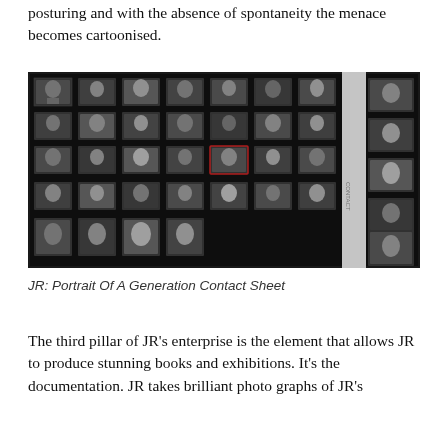posturing and with the absence of spontaneity the menace becomes cartoonised.
[Figure (photo): Black and white photograph of a film contact sheet showing multiple portrait photos of people (mostly young faces), arranged in a grid pattern on photographic film strips.]
JR: Portrait Of A Generation Contact Sheet
The third pillar of JR's enterprise is the element that allows JR to produce stunning books and exhibitions.  It's the documentation. JR takes brilliant photo graphs of JR's